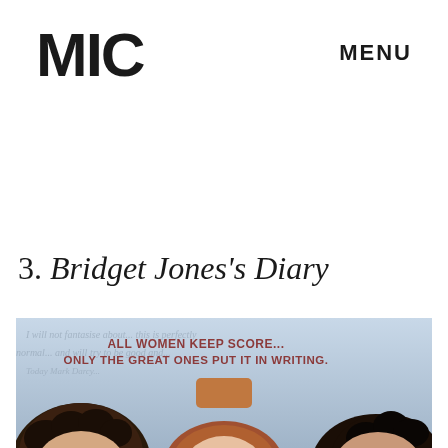MIC
MENU
3. Bridget Jones's Diary
[Figure (photo): Movie poster for Bridget Jones's Diary showing three people's heads (two with dark curly hair on left and right, one with light hair in center) with text 'ALL WOMEN KEEP SCORE... ONLY THE GREAT ONES PUT IT IN WRITING.' on a light blue/grey background with handwriting script overlay.]